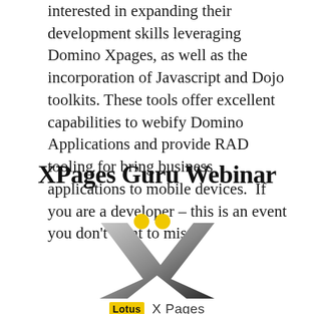interested in expanding their development skills leveraging Domino Xpages, as well as the incorporation of Javascript and Dojo toolkits. These tools offer excellent capabilities to webify Domino Applications and provide RAD tooling for bring business applications to mobile devices.  If you are a developer – this is an event you don't want to miss!
XPages Guru Webinar
[Figure (logo): Lotus XPages logo: an X shape in gray gradient with two yellow circles above, and a label below reading 'Lotus X Pages' with Lotus in a yellow badge.]